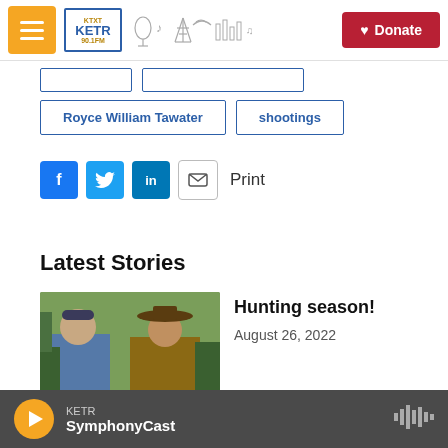KETR Radio - Donate
Royce William Tawater
shootings
Print
Latest Stories
Hunting season!
August 26, 2022
[Figure (photo): Two men outdoors in nature, one wearing a blue jacket and cap, the other wearing a cowboy hat and tan jacket]
KETR SymphonyCast